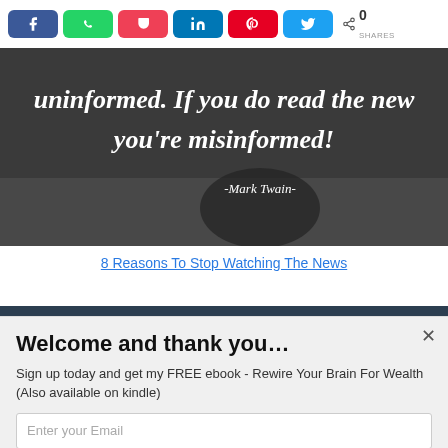Share buttons: Facebook, WhatsApp, Pocket, LinkedIn, Pinterest, Twitter — 0 SHARES
[Figure (photo): Dark background image with white italic quote text: 'uninformed. If you do read the news you're misinformed!' attributed to Mark Twain]
8 Reasons To Stop Watching The News
Welcome and thank you…
Sign up today and get my FREE ebook - Rewire Your Brain For Wealth (Also available on kindle)